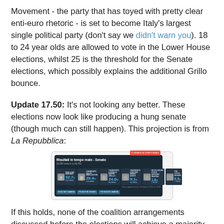Movement - the party that has toyed with pretty clear enti-euro rhetoric - is set to become Italy's largest single political party (don't say we didn't warn you). 18 to 24 year olds are allowed to vote in the Lower House elections, whilst 25 is the threshold for the Senate elections, which possibly explains the additional Grillo bounce.
Update 17.50: It's not looking any better. These elections now look like producing a hung senate (though much can still happen). This projection is from La Repubblica:
[Figure (screenshot): Screenshot from La Repubblica showing Italian Senate election results in real time (Risultati in tempo reale - Senato). Shows candidates: Luigi Bersani 32.7% / 104 seats, Silvio Berlusconi 29.4% / 123 seats, Beppe Grillo 24.0% / 58 seats, Mario Monti 9.1% / 16 seats, Antonio Ingroia 1.8% / 1 seat, Cochi Danari 0.9% / 1 seat.]
If this holds, none of the coalition arrangements discussed before the elections will achieve a majority in the Senate. Under this scenario, Berlusconi's centre-right coalition would win 123 seats, Bersani's centre-left coalition 104, Beppe Grillo's Five-Star Movement 58 and Mario Monti's pro-reform